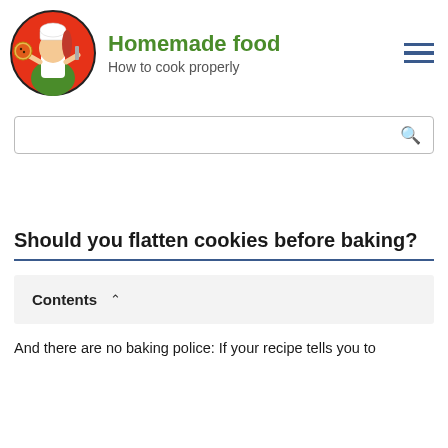[Figure (logo): Circular logo with a female chef cartoon character holding a pizza, wearing a white chef hat and uniform, on a red background]
Homemade food
How to cook properly
[Figure (infographic): Hamburger menu icon with three horizontal blue lines]
[Figure (other): Search bar with magnifying glass icon]
Should you flatten cookies before baking?
Contents ^
And there are no baking police: If your recipe tells you to